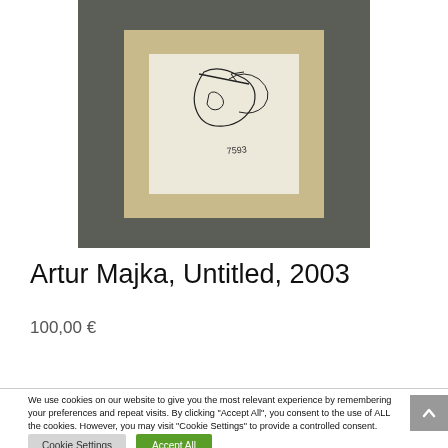[Figure (photo): Framed artwork: a small line drawing with handwriting, mounted in a gray/dark frame with cream mat.]
Artur Majka, Untitled, 2003
100,00 €
We use cookies on our website to give you the most relevant experience by remembering your preferences and repeat visits. By clicking "Accept All", you consent to the use of ALL the cookies. However, you may visit "Cookie Settings" to provide a controlled consent.